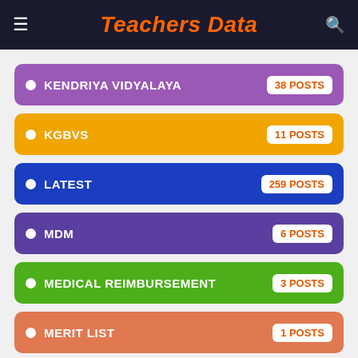Teachers Data
KENDRIYA VIDYALAYA — 38 POSTS
KGBVS — 11 POSTS
LATEST — 259 POSTS
MDM — 6 POSTS
MEDICAL REIMBURSEMENT — 3 POSTS
MERIT LIST — 1 POSTS
MLC ELECTIONS — 7 POSTS